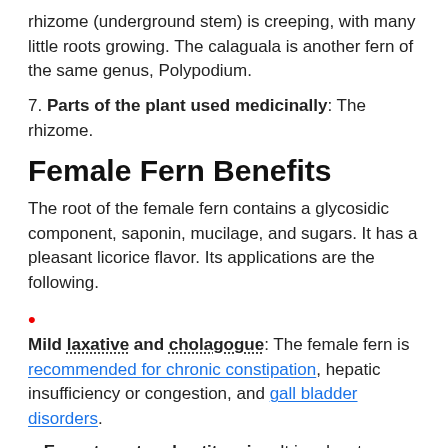rhizome (underground stem) is creeping, with many little roots growing. The calaguala is another fern of the same genus, Polypodium.
7. Parts of the plant used medicinally: The rhizome.
Female Fern Benefits
The root of the female fern contains a glycosidic component, saponin, mucilage, and sugars. It has a pleasant licorice flavor. Its applications are the following.
Mild laxative and cholagogue: The female fern is recommended for chronic constipation, hepatic insufficiency or congestion, and gall bladder disorders.
Expectorant and antitussive: It is advantageous